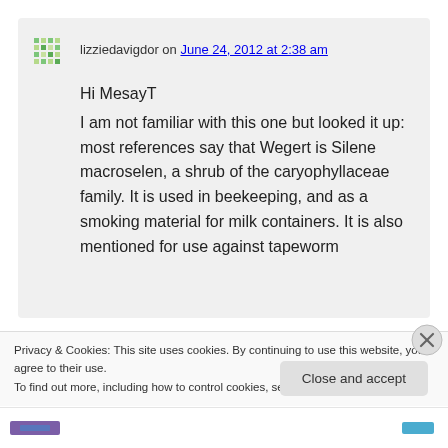lizziedavigdor on June 24, 2012 at 2:38 am
Hi MesayT
I am not familiar with this one but looked it up: most references say that Wegert is Silene macroselen, a shrub of the caryophyllaceae family. It is used in beekeeping, and as a smoking material for milk containers. It is also mentioned for use against tapeworm
Privacy & Cookies: This site uses cookies. By continuing to use this website, you agree to their use.
To find out more, including how to control cookies, see here: Cookie Policy
Close and accept